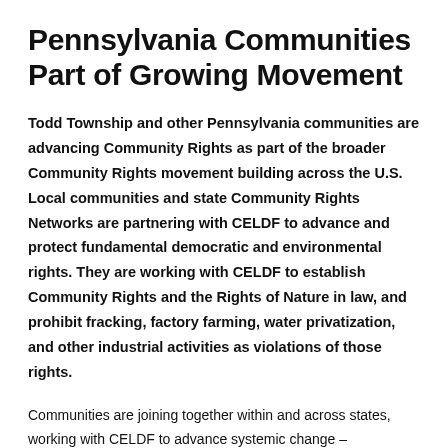Pennsylvania Communities Part of Growing Movement
Todd Township and other Pennsylvania communities are advancing Community Rights as part of the broader Community Rights movement building across the U.S. Local communities and state Community Rights Networks are partnering with CELDF to advance and protect fundamental democratic and environmental rights. They are working with CELDF to establish Community Rights and the Rights of Nature in law, and prohibit fracking, factory farming, water privatization, and other industrial activities as violations of those rights.
Communities are joining together within and across states, working with CELDF to advance systemic change – recognizing our existing system of law and governance as inherently undemocratic and